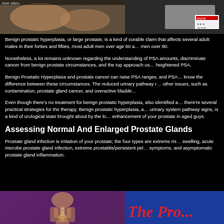[Figure (photo): Top image bar showing partial cropped medical/prostate related photos and a small badge/icon in the upper right corner]
Benign prostatic hyperplasia, or large prostate, is a kind of curable claim that affects several adult males in their forties and fifties, most adult men over age 60 and men over 80.
Nonetheless, a lot remains unknown regarding the understanding of PSA amounts, discriminate cancer from benign prostate circumstances, and the top approach us heightened PSA.
Benign Prostatic Hyperplasia and prostate cancer can raise PSA ranges, and PSA know the difference between these circumstances. The reduced urinary pathway r other issues, such as contamination, prostate gland cancer, and overactive bladde
Even though there's no treatment for benign prostatic hyperplasia, also identified a there're several practical strategies for the therapy. Benign prostatic hyperplasia, a urinary system pathway signs, is a kind of urological state brought about by the lo enhancement of your prostate in aged guys.
Assessing Normal And Enlarged Prostate Glands
Prostate gland infection is irritation of your prostate; the four types are extreme mi swelling, acute microbe prostate gland infection, extreme prostatitis/persistent pel symptoms, and asymptomatic prostate gland inflammation.
[Figure (illustration): Bottom image bar: left side shows anatomical illustration of prostate/pelvic anatomy on purple background, right side shows blue background with red italic text reading 'The Pro...' (partially visible)]